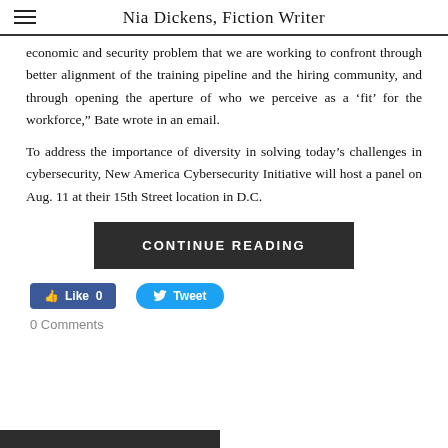Nia Dickens, Fiction Writer
economic and security problem that we are working to confront through better alignment of the training pipeline and the hiring community, and through opening the aperture of who we perceive as a ‘fit’ for the workforce,” Bate wrote in an email.
To address the importance of diversity in solving today’s challenges in cybersecurity, New America Cybersecurity Initiative will host a panel on Aug. 11 at their 15th Street location in D.C.
CONTINUE READING
Like 0  Tweet
0 Comments